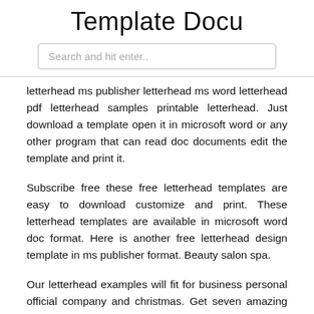Template Docu
Search and hit enter..
letterhead ms publisher letterhead ms word letterhead pdf letterhead samples printable letterhead. Just download a template open it in microsoft word or any other program that can read doc documents edit the template and print it.
Subscribe free these free letterhead templates are easy to download customize and print. These letterhead templates are available in microsoft word doc format. Here is another free letterhead design template in ms publisher format. Beauty salon spa.
Our letterhead examples will fit for business personal official company and christmas. Get seven amazing templates for the price of one. There will be plenty from free of charge letterhead good examples and templates obtainable on this kind of site. These letterhead templates are available in microsoft word doc format.